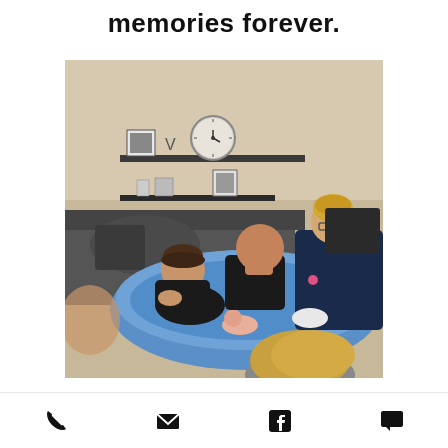memories forever.
[Figure (photo): A home water birth scene showing a woman in a birthing pool with a newborn baby just delivered. A bald man leans over the pool with his hand over his mouth in an emotional reaction. A midwife in dark blue scrubs with glasses leans in from the right. Another person with blonde hair is visible in the foreground. The room has wall shelves with framed photos and a clock in the background.]
Phone | Email | Facebook | Chat icons